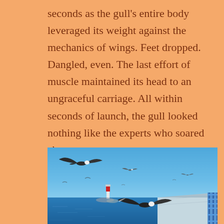seconds as the gull's entire body leveraged its weight against the mechanics of wings. Feet dropped. Dangled, even. The last effort of muscle maintained its head to an ungraceful carriage. All within seconds of launch, the gull looked nothing like the experts who soared above.
[Figure (photo): Seagulls flying over a pier and water under a clear blue sky, with a red and white lighthouse visible in the distance and a blue railing along the right side of the pier.]